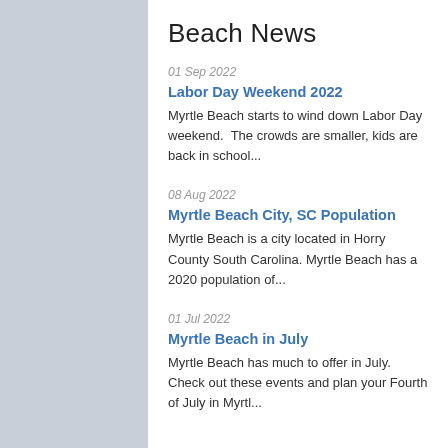Beach News
01 Sep 2022
Labor Day Weekend 2022
Myrtle Beach starts to wind down Labor Day weekend.  The crowds are smaller, kids are back in school...
08 Aug 2022
Myrtle Beach City, SC Population
Myrtle Beach is a city located in Horry County South Carolina. Myrtle Beach has a 2020 population of...
01 Jul 2022
Myrtle Beach in July
Myrtle Beach has much to offer in July. Check out these events and plan your Fourth of July in Myrtl...